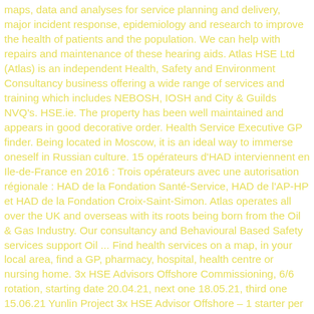maps, data and analyses for service planning and delivery, major incident response, epidemiology and research to improve the health of patients and the population. We can help with repairs and maintenance of these hearing aids. Atlas HSE Ltd (Atlas) is an independent Health, Safety and Environment Consultancy business offering a wide range of services and training which includes NEBOSH, IOSH and City & Guilds NVQ's. HSE.ie. The property has been well maintained and appears in good decorative order. Health Service Executive GP finder. Being located in Moscow, it is an ideal way to immerse oneself in Russian culture. 15 opérateurs d'HAD interviennent en Ile-de-France en 2016 : Trois opérateurs avec une autorisation régionale : HAD de la Fondation Santé-Service, HAD de l'AP-HP et HAD de la Fondation Croix-Saint-Simon. Atlas operates all over the UK and overseas with its roots being born from the Oil & Gas Industry. Our consultancy and Behavioural Based Safety services support Oil ... Find health services on a map, in your local area, find a GP, pharmacy, hospital, health centre or nursing home. 3x HSE Advisors Offshore Commissioning, 6/6 rotation, starting date 20.04.21, next one 18.05.21, third one 15.06.21 Yunlin Project 3x HSE Advisor Offshore – 1 starter per month: first to start in March/ 2nd in April 3rd in May, 6/6 rotation Robert Acland's video atlas series represents a powerful force against this perceived dumbing down and has set about reinvigorating the subject through its crystal clear presentation of